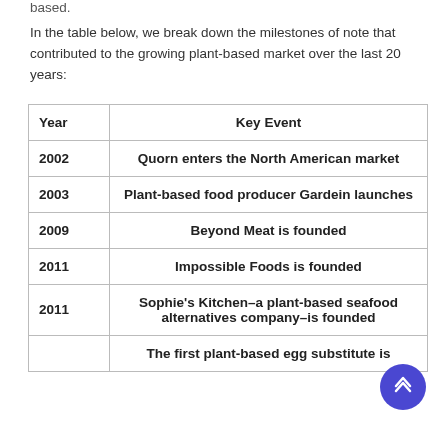based.
In the table below, we break down the milestones of note that contributed to the growing plant-based market over the last 20 years:
| Year | Key Event |
| --- | --- |
| 2002 | Quorn enters the North American market |
| 2003 | Plant-based food producer Gardein launches |
| 2009 | Beyond Meat is founded |
| 2011 | Impossible Foods is founded |
| 2011 | Sophie's Kitchen–a plant-based seafood alternatives company–is founded |
|  | The first plant-based egg substitute is |